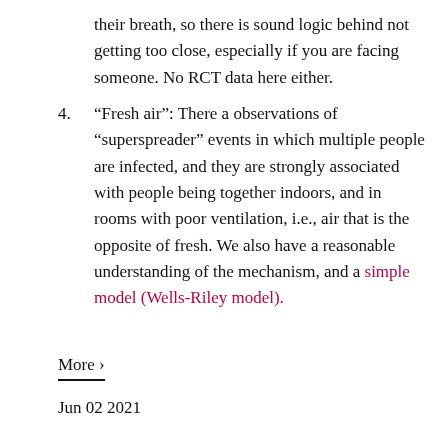their breath, so there is sound logic behind not getting too close, especially if you are facing someone. No RCT data here either.
4. “Fresh air”: There a observations of “superspreader” events in which multiple people are infected, and they are strongly associated with people being together indoors, and in rooms with poor ventilation, i.e., air that is the opposite of fresh. We also have a reasonable understanding of the mechanism, and a simple model (Wells-Riley model).
More ›
Jun 02 2021